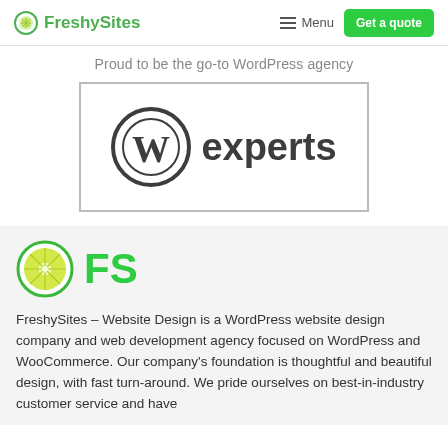FreshySites   Menu   Get a quote
Proud to be the go-to WordPress agency
[Figure (logo): WordPress Experts badge: WordPress W logo circle with text 'experts' inside a bordered rectangle]
[Figure (logo): FreshySites FS logo: lime/lemon circle icon with green 'FS' text]
FreshySites – Website Design is a WordPress website design company and web development agency focused on WordPress and WooCommerce. Our company's foundation is thoughtful and beautiful design, with fast turn-around. We pride ourselves on best-in-industry customer service and have